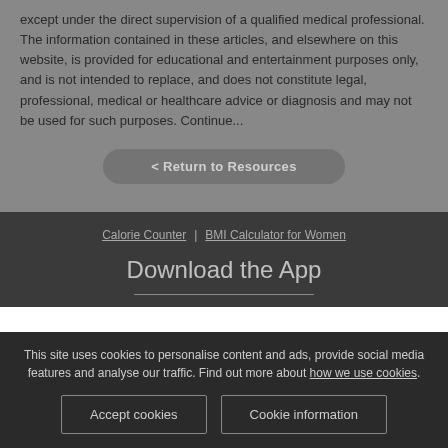except under the direct supervision of a qualified medical professional. The information contained in these articles, and elsewhere on this website, is provided for educational and entertainment purposes only, and is not intended to replace, and does not constitute legal, professional, medical or healthcare advice or diagnosis and may not be used for such purposes. Continue...
< Return to Resources
Calorie Counter | BMI Calculator for Women
Download the App
This site uses cookies to personalise content and ads, provide social media features and analyse our traffic. Find out more about how we use cookies.
Accept cookies
Cookie information